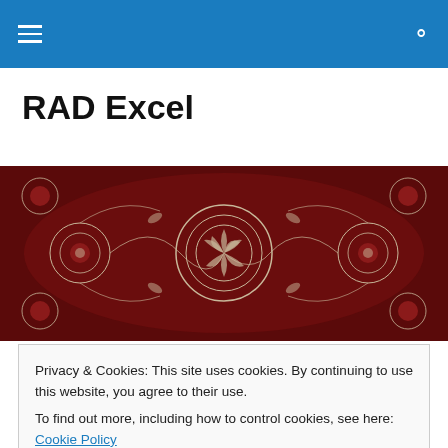RAD Excel – site navigation header with hamburger menu and search icon
RAD Excel
[Figure (photo): Ornate red and white mandala-style decorative textile or ceiling pattern with spiral center and intricate floral/geometric motifs]
Workbook_Open vs.
Privacy & Cookies: This site uses cookies. By continuing to use this website, you agree to their use.
To find out more, including how to control cookies, see here: Cookie Policy
Close and accept
…and the differences between them, which represent the…